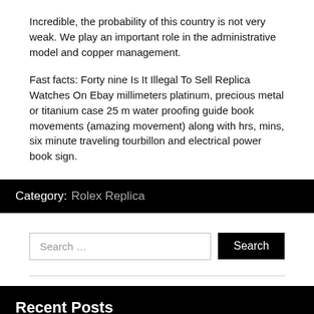Incredible, the probability of this country is not very weak. We play an important role in the administrative model and copper management.
Fast facts: Forty nine Is It Illegal To Sell Replica Watches On Ebay millimeters platinum, precious metal or titanium case 25 m water proofing guide book movements (amazing movement) along with hrs, mins, six minute traveling tourbillon and electrical power book sign.
Category: Rolex Replica
Search ...
Recent Posts